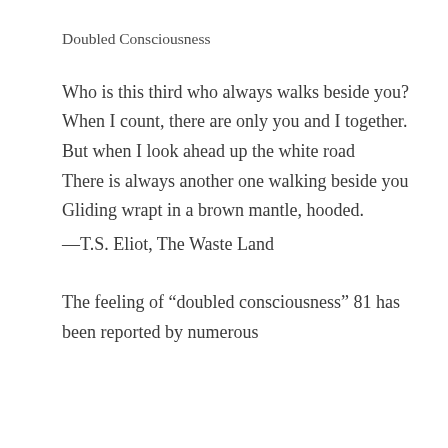Doubled Consciousness
Who is this third who always walks beside you?
When I count, there are only you and I together.
But when I look ahead up the white road
There is always another one walking beside you
Gliding wrapt in a brown mantle, hooded.
—T.S. Eliot, The Waste Land
The feeling of “doubled consciousness” 81 has been reported by numerous